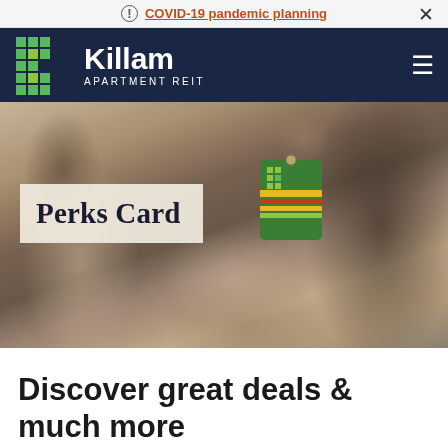COVID-19 pandemic planning
[Figure (logo): Killam Apartment REIT logo — green K grid icon with white text on dark navy background]
[Figure (photo): Hero image showing two people in a shop setting, one handing keys with a Killam Perks Card keychain tag to another. Overlaid text label reads 'Perks Card'.]
Discover great deals & much more